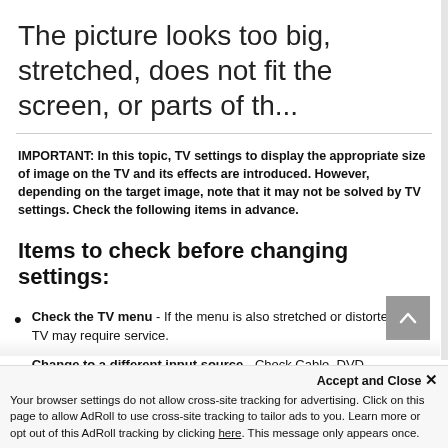The picture looks too big, stretched, does not fit the screen, or parts of th...
IMPORTANT: In this topic, TV settings to display the appropriate size of image on the TV and its effects are introduced. However, depending on the target image, note that it may not be solved by TV settings. Check the following items in advance.
Items to check before changing settings:
Check the TV menu - If the menu is also stretched or distorted, the TV may require service.
Change to a different input source - Check Cable, DVD, Blu-ray, etc. If only one device has an issue, check the
Accept and Close ✕
Your browser settings do not allow cross-site tracking for advertising. Click on this page to allow AdRoll to use cross-site tracking to tailor ads to you. Learn more or opt out of this AdRoll tracking by clicking here. This message only appears once.